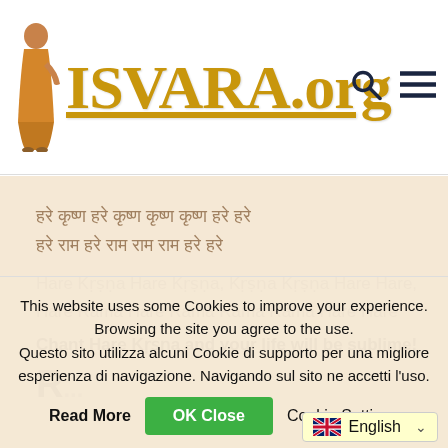ISVARA.org
हरे कृष्ण हरे कृष्ण कृष्ण कृष्ण हरे हरे हरे राम हरे राम राम राम हरे हरे
Hare Kṛṣṇa Hare Kṛṣṇa, Kṛṣṇa Kṛṣṇa Hare Hare, Hare Rāma Hare Rāma Rāma Rāma Hare Hare
Chant Hare Kṛṣṇa and your life will be sublime!
This website uses some Cookies to improve your experience. Browsing the site you agree to the use. Questo sito utilizza alcuni Cookie di supporto per una migliore esperienza di navigazione. Navigando sul sito ne accetti l'uso.
Read More | OK Close | Cookie Settings
English